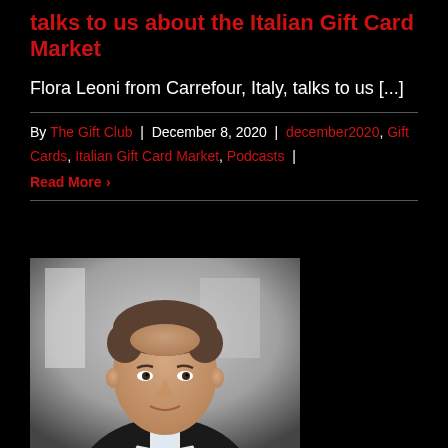talks to us about the Italian Gift Card Market
Flora Leoni from Carrefour, Italy, talks to us [...]
By The Gift Club | December 8, 2020 | december2020, Gift Cards, Italian Gift Card Market, Podcasts | Read More
[Figure (photo): Professional headshot of a middle-aged man in a dark suit with white shirt, photographed in a bright office setting with blurred background]